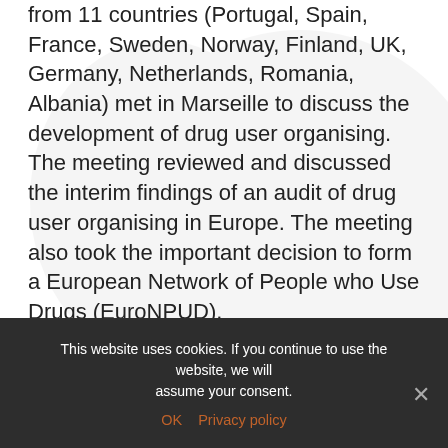from 11 countries (Portugal, Spain, France, Sweden, Norway, Finland, UK, Germany, Netherlands, Romania, Albania) met in Marseille to discuss the development of drug user organising. The meeting reviewed and discussed the interim findings of an audit of drug user organising in Europe. The meeting also took the important decision to form a European Network of People who Use Drugs (EuroNPUD).
The meeting recognised that Europe has a long and proud tradition of both harm reduction and drug user organising. Drug user activists have contributed to this positive history as advocates, watchdogs and innovators. The positive benefits of this history in
This website uses cookies. If you continue to use the website, we will assume your consent.
OK  Privacy policy